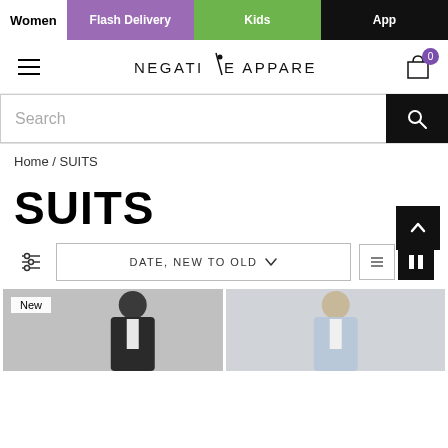Women | Flash Delivery | Kids | App
[Figure (logo): Negative Apparel logo with stylized figure]
Search
Home / SUITS
SUITS
DATE, NEW TO OLD
[Figure (photo): Two product photos of women in suits; first labeled New]